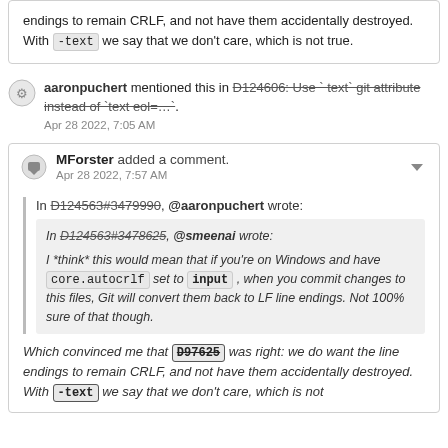endings to remain CRLF, and not have them accidentally destroyed. With -text we say that we don't care, which is not true.
aaronpuchert mentioned this in D124606: Use `text` git attribute instead of `text eol=...`. Apr 28 2022, 7:05 AM
MForster added a comment. Apr 28 2022, 7:57 AM
In D124563#3479990, @aaronpuchert wrote: In D124563#3478625, @smeenai wrote: I *think* this would mean that if you're on Windows and have core.autocrlf set to input, when you commit changes to this files, Git will convert them back to LF line endings. Not 100% sure of that though. Which convinced me that D97625 was right: we do want the line endings to remain CRLF, and not have them accidentally destroyed. With -text we say that we don't care, which is not